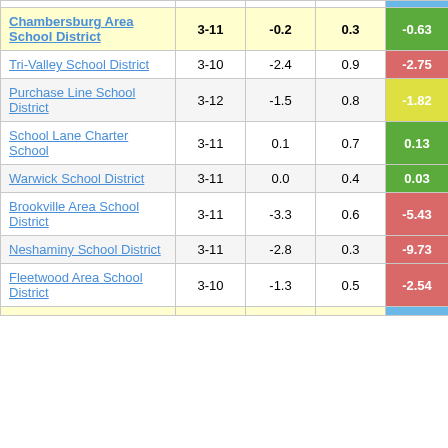| District Name | Grades | Col3 | Col4 | Score |
| --- | --- | --- | --- | --- |
| Chambersburg Area School District | 3-11 | -0.2 | 0.3 | -0.63 |
| Tri-Valley School District | 3-10 | -2.4 | 0.9 | -2.75 |
| Purchase Line School District | 3-12 | -1.5 | 0.8 | -1.82 |
| School Lane Charter School | 3-11 | 0.1 | 0.7 | 0.13 |
| Warwick School District | 3-11 | 0.0 | 0.4 | 0.03 |
| Brookville Area School District | 3-11 | -3.3 | 0.6 | -5.43 |
| Neshaminy School District | 3-11 | -2.8 | 0.3 | -9.73 |
| Fleetwood Area School District | 3-10 | -1.3 | 0.5 | -2.54 |